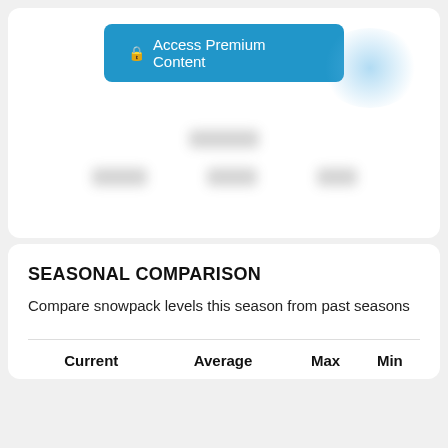[Figure (other): Blurred premium content area with a blue 'Access Premium Content' button and blurred data rows beneath]
SEASONAL COMPARISON
Compare snowpack levels this season from past seasons
| Current | Average | Max | Min |
| --- | --- | --- | --- |